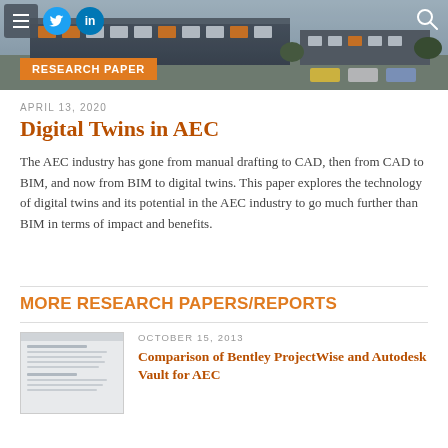[Figure (photo): Aerial/overhead photo of an industrial or commercial building complex with parking lot, used as header banner image]
RESEARCH PAPER
APRIL 13, 2020
Digital Twins in AEC
The AEC industry has gone from manual drafting to CAD, then from CAD to BIM, and now from BIM to digital twins. This paper explores the technology of digital twins and its potential in the AEC industry to go much further than BIM in terms of impact and benefits.
MORE RESEARCH PAPERS/REPORTS
[Figure (screenshot): Thumbnail preview image of a research paper document]
OCTOBER 15, 2013
Comparison of Bentley ProjectWise and Autodesk Vault for AEC